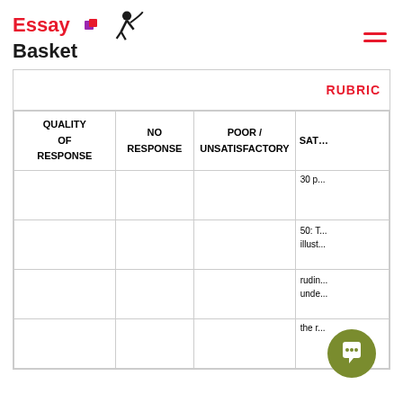Essay Basket [logo]
| QUALITY OF RESPONSE | NO RESPONSE | POOR / UNSATISFACTORY | SAT... |
| --- | --- | --- | --- |
|  |  |  | 30 p... |
|  |  |  | 50: T... illust... |
|  |  |  | rudin... unde... |
|  |  |  | the r... |